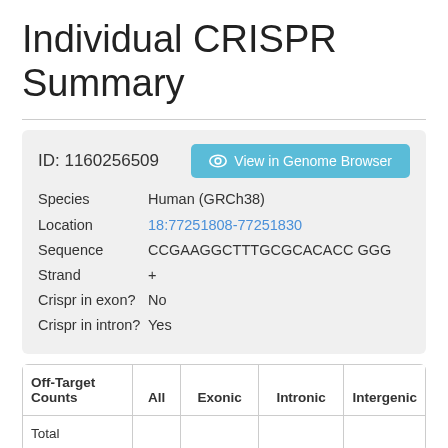Individual CRISPR Summary
ID: 1160256509
Species: Human (GRCh38)
Location: 18:77251808-77251830
Sequence: CCGAAGGCTTTGCGCACACC GGG
Strand: +
Crispr in exon? No
Crispr in intron? Yes
| Off-Target Counts | All | Exonic | Intronic | Intergenic |
| --- | --- | --- | --- | --- |
| Total |  |  |  |  |